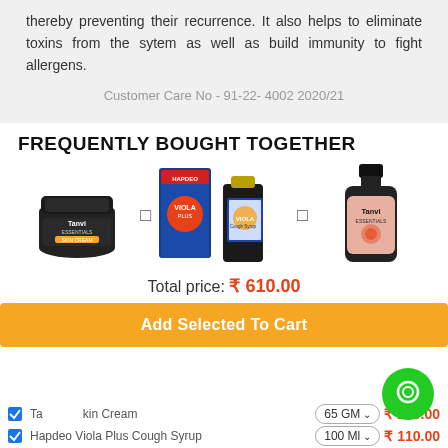thereby preventing their recurrence. It also helps to eliminate toxins from the sytem as well as build immunity to fight allergens.
Customer Care No - 91-22- 4002 2020/21
FREQUENTLY BOUGHT TOGETHER
[Figure (photo): Three product images shown horizontally: Tanvi Essentials Skin Cream jar, Hapdeo Viola Plus Cough Syrup box and bottle, and Tanvi Essentials bottle, separated by plus signs]
Total price: ₹ 610.00
Add Selected To Cart
REWARDS
Tanvi Skin Cream  65 GM  ₹ 250.00
Hapdeo Viola Plus Cough Syrup  100 Ml  ₹ 110.00